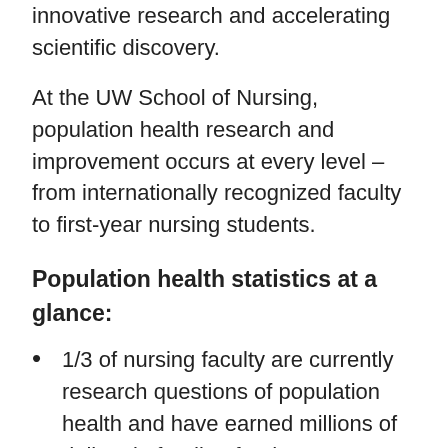innovative research and accelerating scientific discovery.
At the UW School of Nursing, population health research and improvement occurs at every level – from internationally recognized faculty to first-year nursing students.
Population health statistics at a glance:
1/3 of nursing faculty are currently research questions of population health and have earned millions of dollars in funding for these initiatives
45% of all Doctor of Nursing Practice final projects address population health
54% of Ph.D. candidates are conducting population health research